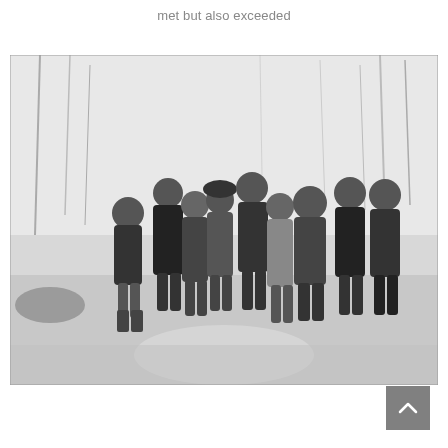met but also exceeded
[Figure (photo): Black and white family photo of approximately nine people standing together on a snowy path outdoors, surrounded by bare trees in winter. The group is posed closely together, smiling, wearing winter coats and jackets.]
[Figure (other): Gray square button with an upward-pointing chevron/caret arrow icon, used as a back-to-top navigation element.]